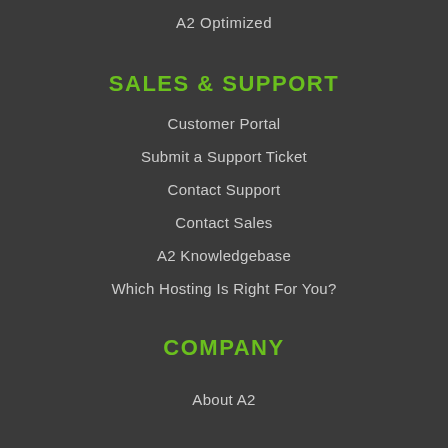A2 Optimized
SALES & SUPPORT
Customer Portal
Submit a Support Ticket
Contact Support
Contact Sales
A2 Knowledgebase
Which Hosting Is Right For You?
COMPANY
About A2